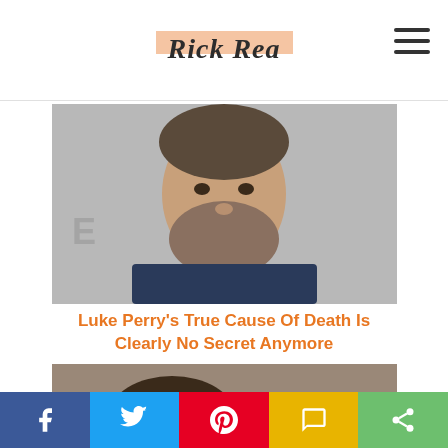Rick Rea
[Figure (photo): Headshot photo of Luke Perry, a middle-aged man with a beard, looking serious]
Luke Perry's True Cause Of Death Is Clearly No Secret Anymore
[Figure (photo): Photo of Rachael Ray's husband and a woman cheek-to-cheek, smiling and posing together]
The Truth About Rachael Ray's Husband Is Out in the Open
Facebook Twitter Pinterest SMS Share